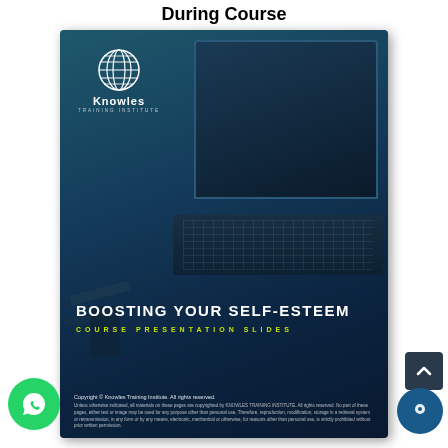During Course
[Figure (illustration): Cover page of Knowles Training Institute course presentation slides booklet for 'Boosting Your Self-Esteem', showing a dark teal-blue background with a laptop on a desk, the Knowles globe logo in the top-left, the main title 'BOOSTING YOUR SELF-ESTEEM' in bold white uppercase text, subtitle 'COURSE PRESENTATION SLIDES' in yellow-green spaced uppercase, and copyright text at the bottom.]
Copyright © Knowles Training Institute. All rights reserved.
Unless otherwise indicated, all materials on these pages are copyrighted by KNOWLES TRAINING INSTITUTE. All rights reserved. No part of these pages, either text or image may be used for any purpose other than personal use. Therefore, reproduction, modification, storage in a retrieval system or retransmission, in any form or by any means, electronic, mechanical or otherwise, for reasons other than personal use, is strictly prohibited without prior written permission.